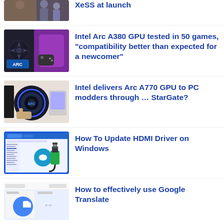XeSS at launch
[Figure (photo): Partial thumbnail of people at gaming/tech event]
[Figure (photo): Intel Arc A380 GPU with purple lighting and gaming setup]
Intel Arc A380 GPU tested in 50 games, “compatibility better than expected for a newcomer”
[Figure (photo): Intel Arc A770 GPU circular display device being touched]
Intel delivers Arc A770 GPU to PC modders through … StarGate?
[Figure (screenshot): Screenshot of Windows driver update interface with HDMI cable graphic]
How To Update HDMI Driver on Windows
[Figure (screenshot): Google Translate interface with Google G logo]
How to effectively use Google Translate